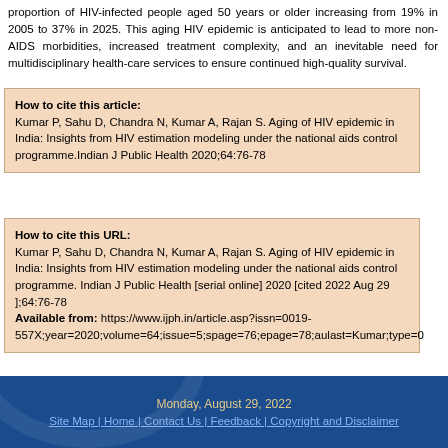proportion of HIV-infected people aged 50 years or older increasing from 19% in 2005 to 37% in 2025. This aging HIV epidemic is anticipated to lead to more non-AIDS morbidities, increased treatment complexity, and an inevitable need for multidisciplinary health-care services to ensure continued high-quality survival.
How to cite this article: Kumar P, Sahu D, Chandra N, Kumar A, Rajan S. Aging of HIV epidemic in India: Insights from HIV estimation modeling under the national aids control programme.Indian J Public Health 2020;64:76-78
How to cite this URL: Kumar P, Sahu D, Chandra N, Kumar A, Rajan S. Aging of HIV epidemic in India: Insights from HIV estimation modeling under the national aids control programme. Indian J Public Health [serial online] 2020 [cited 2022 Aug 29 ];64:76-78 Available from: https://www.ijph.in/article.asp?issn=0019-557X;year=2020;volume=64;issue=5;spage=76;epage=78;aulast=Kumar;type=0
Monday, August 29, 2022 | Site Map | Home | Contact Us | Feedback | Copyright and Disclaimer